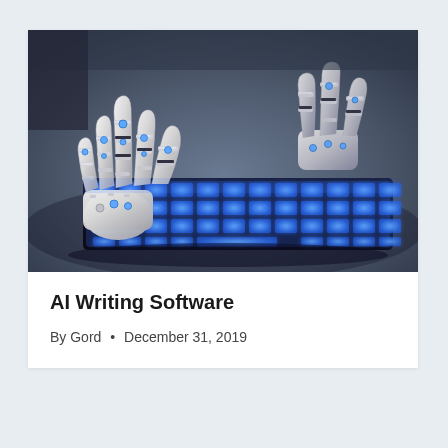[Figure (photo): A robotic hand with white mechanical fingers typing on a glowing blue backlit keyboard, set against a grey background. The robot hand appears futuristic and sci-fi styled.]
AI Writing Software
By Gord • December 31, 2019